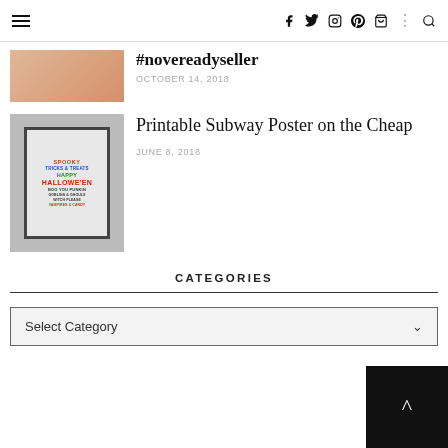Navigation bar with hamburger menu and social icons: facebook, twitter, instagram, pinterest, cart, search
#novereadyseller
OCTOBER 14, 2018
[Figure (photo): Thumbnail image for Printable Subway Poster on the Cheap post - shows a framed Halloween subway art poster]
Printable Subway Poster on the Cheap
JUNE 8, 2018
CATEGORIES
Select Category